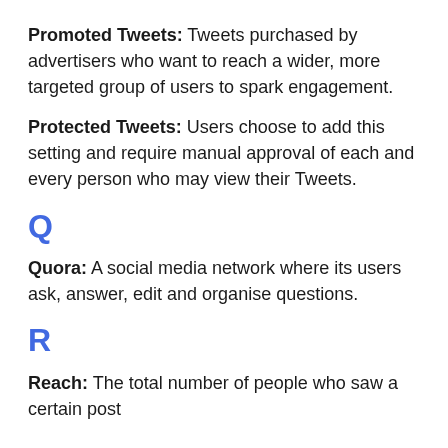Promoted Tweets: Tweets purchased by advertisers who want to reach a wider, more targeted group of users to spark engagement.
Protected Tweets: Users choose to add this setting and require manual approval of each and every person who may view their Tweets.
Q
Quora: A social media network where its users ask, answer, edit and organise questions.
R
Reach: The total number of people who saw a certain post